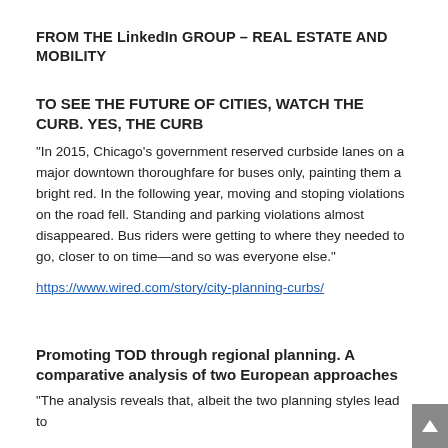FROM THE LinkedIn GROUP – REAL ESTATE AND MOBILITY
TO SEE THE FUTURE OF CITIES, WATCH THE CURB. YES, THE CURB
“In 2015, Chicago’s government reserved curbside lanes on a major downtown thoroughfare for buses only, painting them a bright red. In the following year, moving and stoping violations on the road fell. Standing and parking violations almost disappeared. Bus riders were getting to where they needed to go, closer to on time—and so was everyone else.”
https://www.wired.com/story/city-planning-curbs/
Promoting TOD through regional planning. A comparative analysis of two European approaches
“The analysis reveals that, albeit the two planning styles lead to